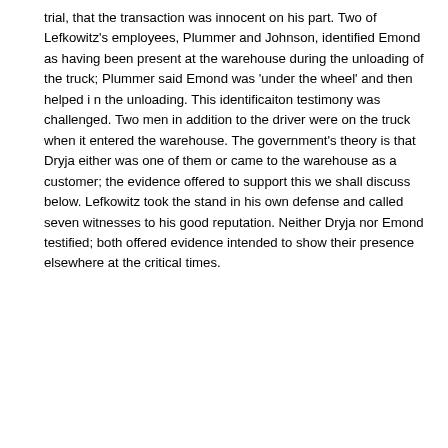trial, that the transaction was innocent on his part. Two of Lefkowitz's employees, Plummer and Johnson, identified Emond as having been present at the warehouse during the unloading of the truck; Plummer said Emond was 'under the wheel' and then helped i n the unloading. This identificaiton testimony was challenged. Two men in addition to the driver were on the truck when it entered the warehouse. The government's theory is that Dryja either was one of them or came to the warehouse as a customer; the evidence offered to support this we shall discuss below. Lefkowitz took the stand in his own defense and called seven witnesses to his good reputation. Neither Dryja nor Emond testified; both offered evidence intended to show their presence elsewhere at the critical times.